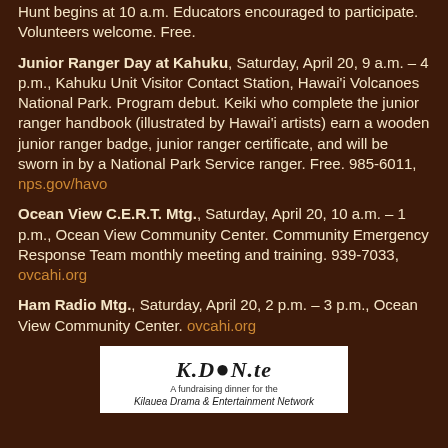Hunt begins at 10 a.m. Educators encouraged to participate. Volunteers welcome. Free.
Junior Ranger Day at Kahuku, Saturday, April 20, 9 a.m. – 4 p.m., Kahuku Unit Visitor Contact Station, Hawai'i Volcanoes National Park. Program debut. Keiki who complete the junior ranger handbook (illustrated by Hawai'i artists) earn a wooden junior ranger badge, junior ranger certificate, and will be sworn in by a National Park Service ranger. Free. 985-6011, nps.gov/havo
Ocean View C.E.R.T. Mtg., Saturday, April 20, 10 a.m. – 1 p.m., Ocean View Community Center. Community Emergency Response Team monthly meeting and training. 939-7033, ovcahi.org
Ham Radio Mtg., Saturday, April 20, 2 p.m. – 3 p.m., Ocean View Community Center. ovcahi.org
[Figure (logo): KDeNte logo - A fundraising dinner for the Kilauea Drama & Entertainment Network]